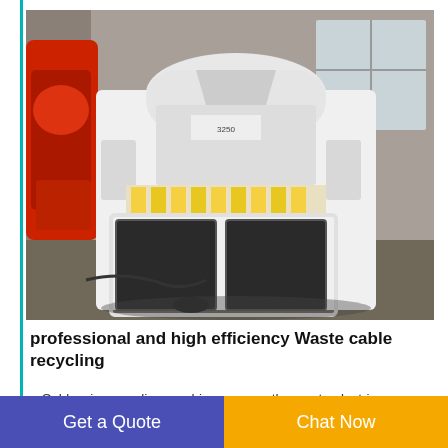[Figure (photo): Industrial waste cable recycling machine, white colored, in a warehouse/factory setting with red machinery parts visible on left and large windows in background]
professional and high efficiency Waste cable recycling
Cable wire recycling machine process the waste electric wire and cable into copper and plastic granule. Copper is
Get a Quote
Chat Now